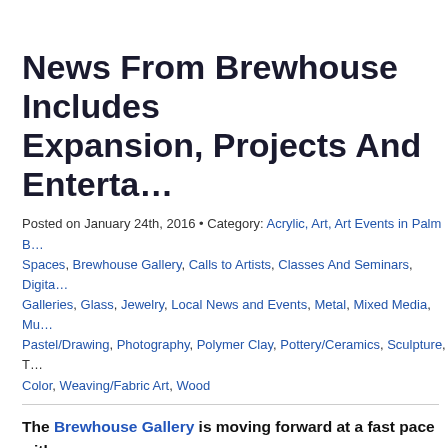News From Brewhouse Includes Expansion, Projects And Entertainment
Posted on January 24th, 2016 • Category: Acrylic, Art, Art Events in Palm Beach, Alternative Spaces, Brewhouse Gallery, Calls to Artists, Classes And Seminars, Digital, Galleries, Glass, Jewelry, Local News and Events, Metal, Mixed Media, Murals, Pastel/Drawing, Photography, Polymer Clay, Pottery/Ceramics, Sculpture, Watercolor, Weaving/Fabric Art, Wood
The Brewhouse Gallery is moving forward at a fast pace with renovation plans for the block of buildings on Park Avenue in Lake Park! The Ricca wants to share details and especially wants you to know the opportunities for you to be part of making Lake Park an art and entertainment destination. The Brewhouse is a community art gallery and craft beer oasis! Sit back with a local craft beer, specialty soda or wine. Musical performances, poetry readings, and assorted night time events keep things lively. The Brewhouse is also one of the most well-respected live music venues in all of South Florida, gourmet hotdogs and burgers. It's a creative space to share ideas and community. Enjoy the regularly scheduled open mic night with some great local musicians, poetry, comedians and more.